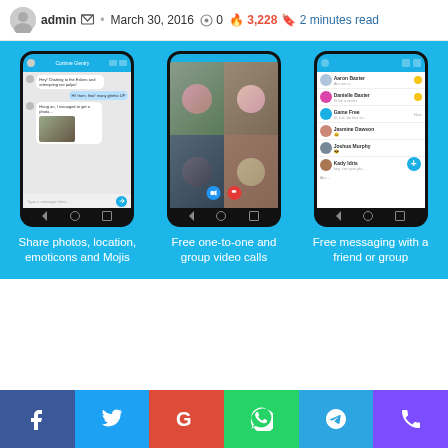admin • March 30, 2016  0  3,228  2 minutes read
[Figure (screenshot): Skype promotional banner with three smartphone screenshots on blue background. Left phone shows chat/messaging screen with text bubbles and photo sharing. Center phone shows group video call with four participants. Right phone shows contacts list. Each phone has caption below: 'Share photos, location, emoticons and Mojis', 'Free one-to-one and group video calls', 'Free messaging with a friend or group'.]
[Figure (screenshot): White blank area below the promotional banner]
f  t  G  (whatsapp)  (telegram)  (phone/viber)